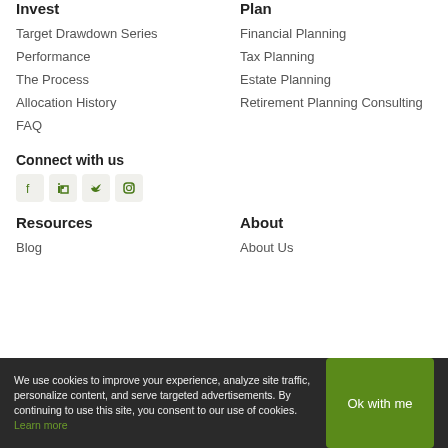Invest
Target Drawdown Series
Performance
The Process
Allocation History
FAQ
Plan
Financial Planning
Tax Planning
Estate Planning
Retirement Planning Consulting
Connect with us
[Figure (other): Social media icons for Facebook, LinkedIn, Twitter, Instagram]
Resources
Blog
About
About Us
We use cookies to improve your experience, analyze site traffic, personalize content, and serve targeted advertisements. By continuing to use this site, you consent to our use of cookies. Learn more
Ok with me